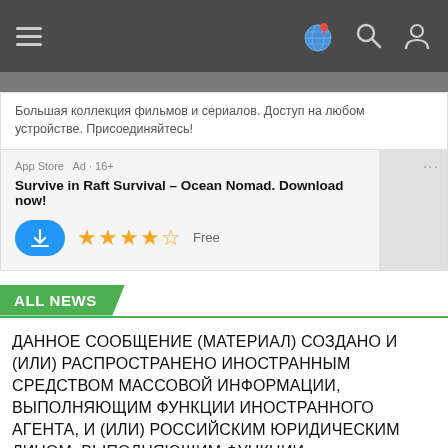Navigation bar with hamburger menu and globe/search/user icons
Большая коллекция фильмов и сериалов. Доступ на любом устройстве. Присоединяйтесь!
[Figure (screenshot): App Store ad for Raft Survival – Ocean Nomad. Shows App Store label, Ad · 16+, title 'Survive in Raft Survival – Ocean Nomad. Download now!', download button, 4.5 star rating, Free label.]
ALL NEWS
ДАННОЕ СООБЩЕНИЕ (МАТЕРИАЛ) СОЗДАНО И (ИЛИ) РАСПРОСТРАНЕНО ИНОСТРАННЫМ СРЕДСТВОМ МАССОВОЙ ИНФОРМАЦИИ, ВЫПОЛНЯЮЩИМ ФУНКЦИИ ИНОСТРАННОГО АГЕНТА, И (ИЛИ) РОССИЙСКИМ ЮРИДИЧЕСКИМ ЛИЦОМ, ВЫПОЛНЯЮЩИМ ФУНКЦИИ ИНОСТРАННОГО АГЕНТА.
August 24, 2022 00:41
Lawyer of «Trans-Agni»...